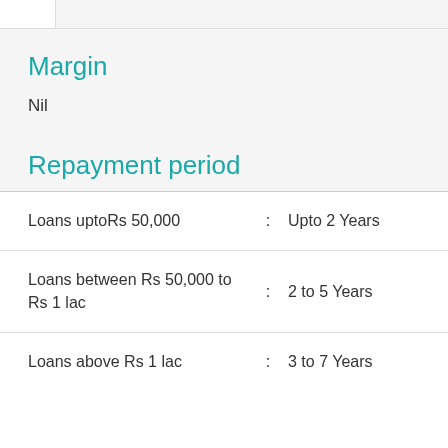Margin
Nil
Repayment period
| Loan Type | : | Repayment Period |
| --- | --- | --- |
| Loans uptoRs 50,000 | : | Upto 2 Years |
| Loans between Rs 50,000 to Rs 1 lac | : | 2 to 5 Years |
| Loans above Rs 1 lac | : | 3 to 7 Years |